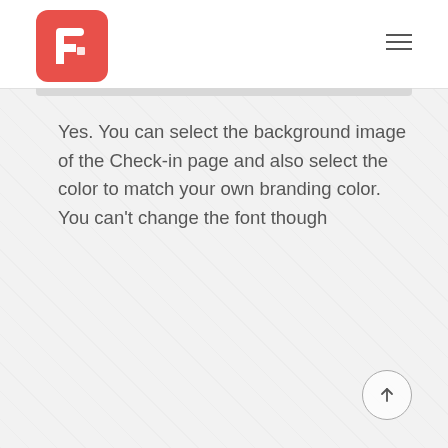[Figure (logo): Red rounded square logo with white stylized letter F and small square icon]
Yes. You can select the background image of the Check-in page and also select the color to match your own branding color. You can't change the font though